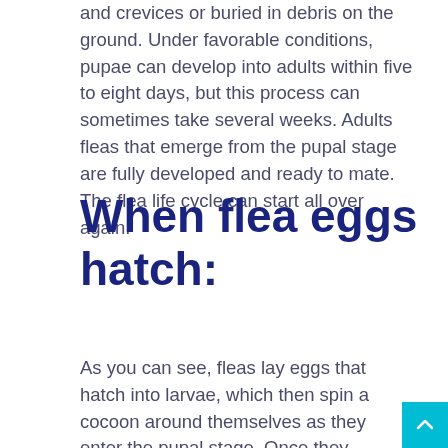and crevices or buried in debris on the ground. Under favorable conditions, pupae can develop into adults within five to eight days, but this process can sometimes take several weeks. Adults fleas that emerge from the pupal stage are fully developed and ready to mate. The flea life cycle can start all over again.
When flea eggs hatch:
As you can see, fleas lay eggs that hatch into larvae, which then spin a cocoon around themselves as they enter the pupal stage. Once they emerge from the pupal stage, they are fully developed adults ready to mate and start the flea life cycle all over again. If you have a flea problem in your home, it is important to get rid of them as